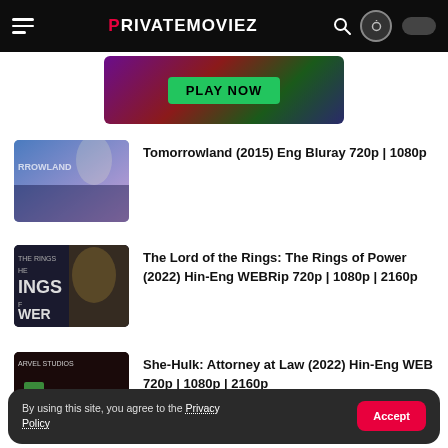PRIVATEMOVIEZ
[Figure (screenshot): Ad banner with green PLAY NOW button on a colorful gaming background]
Tomorrowland (2015) Eng Bluray 720p | 1080p
The Lord of the Rings: The Rings of Power (2022) Hin-Eng WEBRip 720p | 1080p | 2160p
She-Hulk: Attorney at Law (2022) Hin-Eng WEB 720p | 1080p | 2160p
Rise Of The Dragon (2001) Hin-Eng
By using this site, you agree to the Privacy Policy  Accept